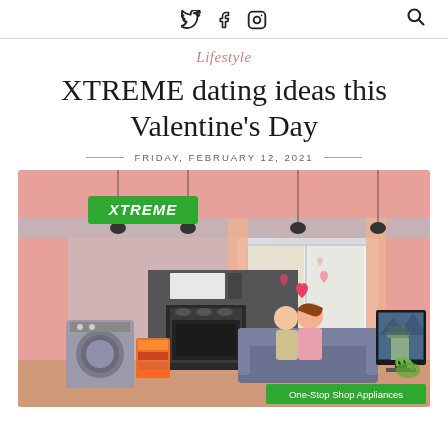Twitter Facebook Instagram [search icon]
Lifestyle
XTREME dating ideas this Valentine's Day
FRIDAY, FEBRUARY 12, 2021
[Figure (illustration): XTREME Appliances promotional illustration showing a pink living room scene with a couple on a couch surrounded by hearts, kitchen appliances (oven, range, washing machine), a flat-screen TV showing a Korean temple, hanging pendant lights, and the text 'One-Stop Shop Appliances' in a green banner at bottom right. The XTREME logo appears in a green rectangle at the top left.]